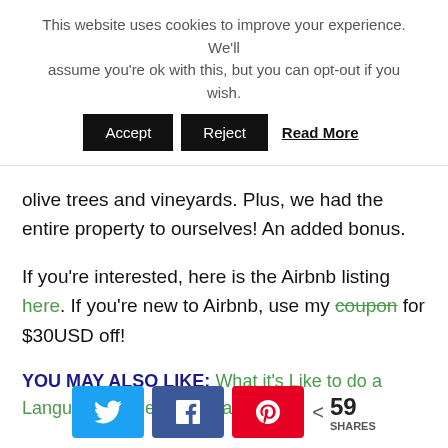This website uses cookies to improve your experience. We'll assume you're ok with this, but you can opt-out if you wish.
Accept | Reject | Read More
olive trees and vineyards. Plus, we had the entire property to ourselves! An added bonus.
If you're interested, here is the Airbnb listing here. If you're new to Airbnb, use my coupon for $30USD off!
YOU MAY ALSO LIKE: What it's Like to do a Language Homestay in Italy
< 59 SHARES